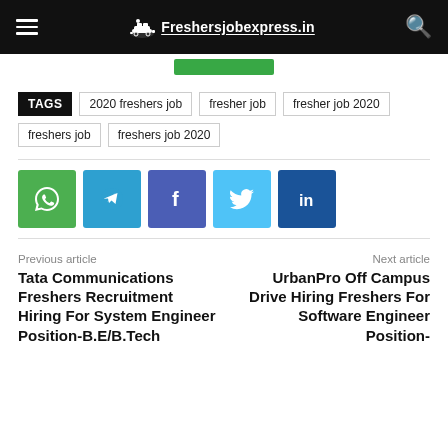Freshersjobexpress.in
TAGS  2020 freshers job  fresher job  fresher job 2020  freshers job  freshers job 2020
[Figure (infographic): Social share buttons: WhatsApp, Telegram, Facebook, Twitter, LinkedIn]
Previous article
Tata Communications Freshers Recruitment Hiring For System Engineer Position-B.E/B.Tech
Next article
UrbanPro Off Campus Drive Hiring Freshers For Software Engineer Position-